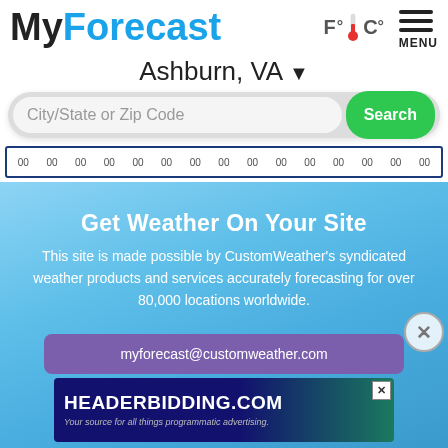MyForecast
Ashburn, VA ▾
City/State or Zip Code  Search
00 00 00 00 00 00 00 00 00 00 00 00 00 00 00
Get Weather On Your Site
This site is made possible by CustomWeather's syndicated weather products and services accurately forecasting for over 80,000 locations worldwide.
myforecast@customweather.com
[Figure (screenshot): HEADERBIDDING.COM advertisement banner - Your source for all things programmatic advertising.]